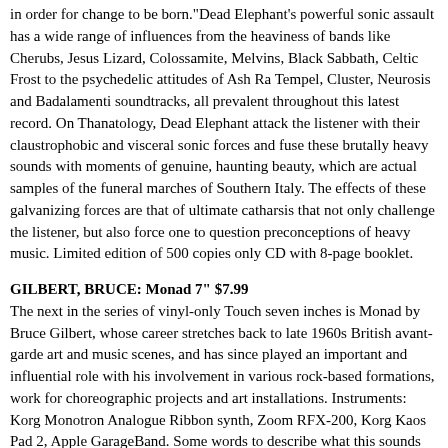in order for change to be born."Dead Elephant's powerful sonic assault has a wide range of influences from the heaviness of bands like Cherubs, Jesus Lizard, Colossamite, Melvins, Black Sabbath, Celtic Frost to the psychedelic attitudes of Ash Ra Tempel, Cluster, Neurosis and Badalamenti soundtracks, all prevalent throughout this latest record. On Thanatology, Dead Elephant attack the listener with their claustrophobic and visceral sonic forces and fuse these brutally heavy sounds with moments of genuine, haunting beauty, which are actual samples of the funeral marches of Southern Italy. The effects of these galvanizing forces are that of ultimate catharsis that not only challenge the listener, but also force one to question preconceptions of heavy music. Limited edition of 500 copies only CD with 8-page booklet.
GILBERT, BRUCE: Monad 7" $7.99
The next in the series of vinyl-only Touch seven inches is Monad by Bruce Gilbert, whose career stretches back to late 1960s British avant-garde art and music scenes, and has since played an important and influential role with his involvement in various rock-based formations, work for choreographic projects and art installations. Instruments: Korg Monotron Analogue Ribbon synth, Zoom RFX-200, Korg Kaos Pad 2, Apple GarageBand. Some words to describe what this sounds like: coruscating, metallic, hard, structured chaos and LOUD.